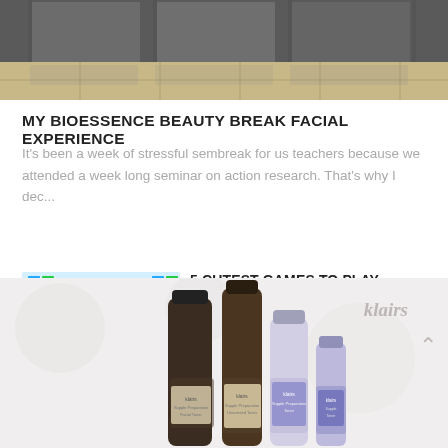[Figure (photo): Top portion of a photo showing glass doors and tiled floor of what appears to be a commercial building entrance]
MY BIOESSENCE BEAUTY BREAK FACIAL EXPERIENCE
It's been a week of stressful sembreak for us teachers because we attended a week long seminar on action research. That's why I dec...
[Figure (photo): Thumbnail image of a colorful 2048 game featuring cute cartoon animals and a rainbow]
5 CUTEST GAMES TO PLAY
Online games are a great way to destress after a hard day's work. I often find myself playing online games whenever I feel the need to d...
[Figure (photo): Bottom portion showing skincare product bottles (klairs brand) on a light background with an upward arrow navigation element]